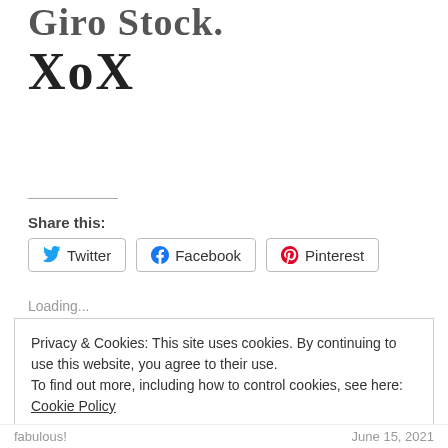Giro Stock.
XoX
Share this:
Twitter  Facebook  Pinterest
Loading...
Privacy & Cookies: This site uses cookies. By continuing to use this website, you agree to their use. To find out more, including how to control cookies, see here: Cookie Policy
Close and accept
fabulous!    June 15, 2021